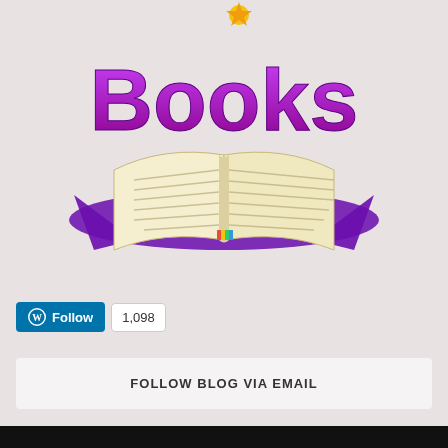[Figure (logo): Colorful books blog logo with purple stylized 'Books' text above an illustrated open book with a purple background shadow]
[Figure (other): WordPress Follow button (blue with WP icon) showing 1,098 followers count in a white badge]
FOLLOW BLOG VIA EMAIL
[Figure (other): Black bottom bar/footer strip]